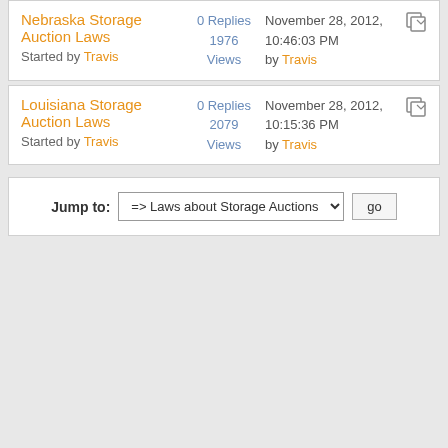Nebraska Storage Auction Laws
Started by Travis
0 Replies
1976 Views
November 28, 2012, 10:46:03 PM by Travis
Louisiana Storage Auction Laws
Started by Travis
0 Replies
2079 Views
November 28, 2012, 10:15:36 PM by Travis
Jump to: => Laws about Storage Auctions  go